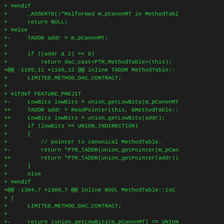[Figure (screenshot): Code diff screenshot showing C++ source code changes in green monospace font on dark background. The diff shows modifications to MethodTable inline functions including TADDR handling, FEATURE_PREJIT conditional compilation, LowBits/union_getPointer calls, and UNION_INDIRECTION checks.]